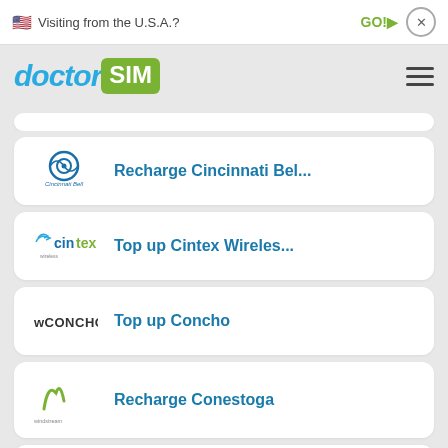Visiting from the U.S.A?  GO!  ×
[Figure (logo): doctorSIM logo with hamburger menu]
Recharge Cincinnati Bel...
Top up Cintex Wireles...
Top up Concho
Recharge Conestoga
Recharge Consumer Cellu...
Recharge Corr